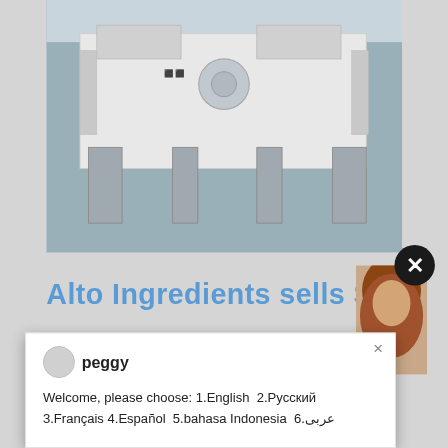[Figure (screenshot): Screenshot of a webpage showing a chat popup overlay. Background shows industrial crusher machine photo, page title 'Alto Ingredients sells Stu...', partial body text about NYSE: SEB, and a CHAT ONLINE button. A chat widget from 'peggy' is overlaid with language selection options. Right side shows a dark blue sidebar with enquiry/email info.]
Alto Ingredients sells Stu
peggy
Welcome, please choose: 1.English  2.Русский 3.Français 4.Español  5.bahasa Indonesia  6.عربى
(NYSE: SEB) for $28.3 million. That plant also includ... solar array.
CHAT ONLINE
Have any requests, click here
Enquiry
limingjlmofen@sina.com